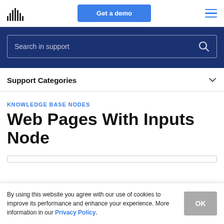Get a demo
Search in support
Support Categories
KNOWLEDGE BASE NODES
Web Pages With Inputs Node
By using this website you agree with our use of cookies to improve its performance and enhance your experience. More information in our Privacy Policy.